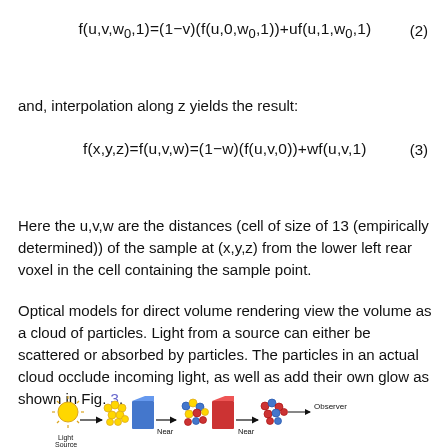and, interpolation along z yields the result:
Here the u,v,w are the distances (cell of size of 13 (empirically determined)) of the sample at (x,y,z) from the lower left rear voxel in the cell containing the sample point.
Optical models for direct volume rendering view the volume as a cloud of particles. Light from a source can either be scattered or absorbed by particles. The particles in an actual cloud occlude incoming light, as well as add their own glow as shown in Fig. 3.
[Figure (illustration): Diagram showing light source on the left, particles (yellow, blue cube, mixed red/blue/yellow dots, red cube, mixed red/blue dots), and an Observer on the right, with arrows labeled Near below the particle groups.]